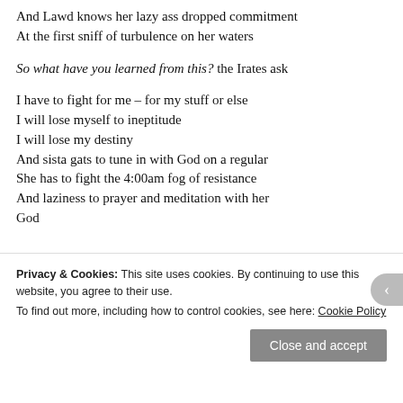And Lawd knows her lazy ass dropped commitment
At the first sniff of turbulence on her waters

So what have you learned from this? the Irates ask

I have to fight for me – for my stuff or else
I will lose myself to ineptitude
I will lose my destiny
And sista gats to tune in with God on a regular
She has to fight the 4:00am fog of resistance
And laziness to prayer and meditation with her God
Privacy & Cookies: This site uses cookies. By continuing to use this website, you agree to their use.
To find out more, including how to control cookies, see here: Cookie Policy
Close and accept